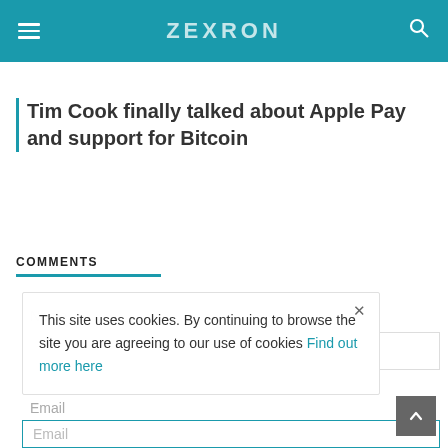ZEXRON
Tim Cook finally talked about Apple Pay and support for Bitcoin
COMMENTS
This site uses cookies. By continuing to browse the site you are agreeing to our use of cookies Find out more here